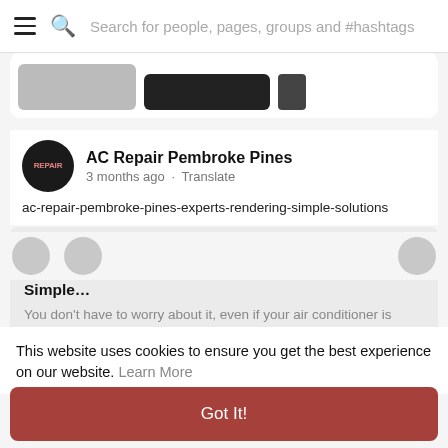Search for people, pages, groups and #hashtags
[Figure (screenshot): Partially cropped social media card showing images at the bottom]
AC Repair Pembroke Pines
3 months ago · Translate
ac-repair-pembroke-pines-experts-rendering-simple-solutions
[Figure (screenshot): Link preview card for www.myxads.com showing 'AC Repair Pembroke Pines Experts Rendering Simple...' with description text]
This website uses cookies to ensure you get the best experience on our website. Learn More
Got It!